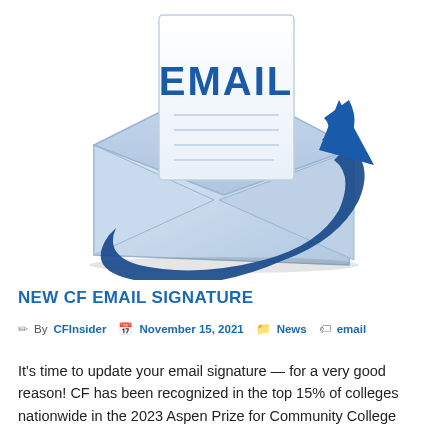[Figure (illustration): Email icon: a white envelope with a paper inside that has 'EMAIL' written in large blue letters, with a blue curved arrow wrapping around the envelope pointing upward to the right.]
NEW CF EMAIL SIGNATURE
By CFInsider  November 15, 2021  News  email
It's time to update your email signature — for a very good reason! CF has been recognized in the top 15% of colleges nationwide in the 2023 Aspen Prize for Community College